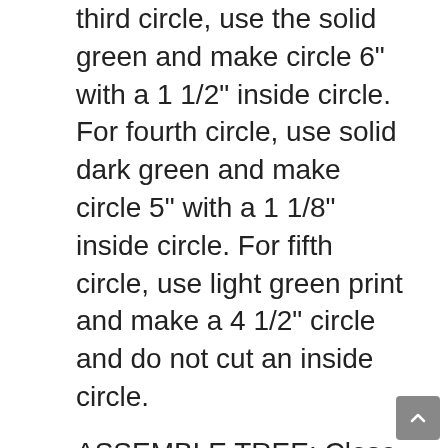third circle, use the solid green and make circle 6" with a 1 1/2" inside circle. For fourth circle, use solid dark green and make circle 5" with a 1 1/8" inside circle. For fifth circle, use light green print and make a 4 1/2" circle and do not cut an inside circle.
ASSEMBLE TREE: Close Renuzit® and slip cone over topper. Measuring from bottom to top, mark on the seam the following increments: 1 1/2", 3"